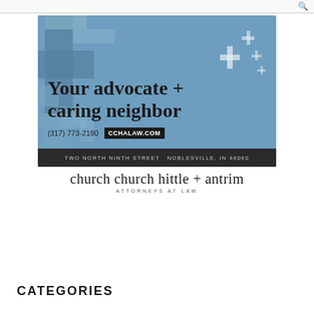[Figure (illustration): Advertisement for Church Church Hittle + Antrim law firm. Blue background with cross/plus symbol mosaic pattern. Large bold text reads 'Your advocate + caring neighbor'. Phone number (317) 773-2190 and website CCHALAW.COM shown. Dark footer bar with address: TWO NORTH NINTH STREET NOBLESVILLE, IN 46060. Below image: firm name 'church church hittle + antrim' and tagline 'ATTORNEYS AT LAW'.]
CATEGORIES